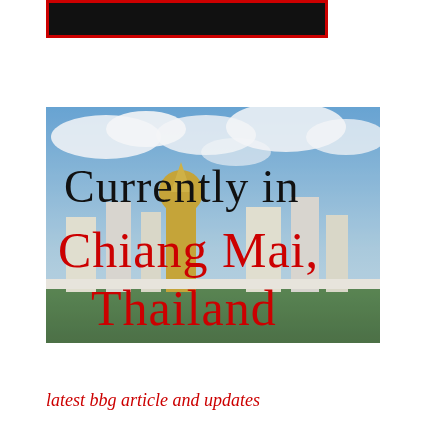[Figure (photo): Dark/black rectangular image with red border at the top of the page]
[Figure (photo): Photo of Thai temple (Chiang Mai) with blue sky and clouds. Overlaid text reads 'Currently in' in black handwritten font and 'Chiang Mai, Thailand' in red handwritten font.]
latest bbg article and updates